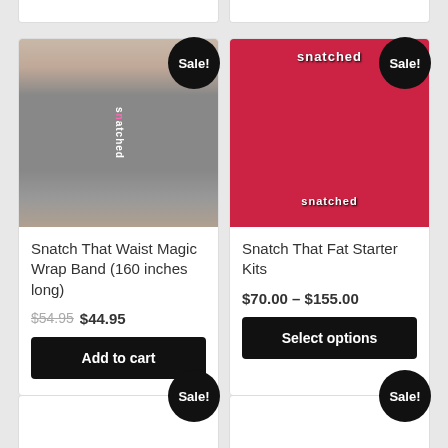[Figure (photo): Partial product card stub at top left]
[Figure (photo): Partial product card stub at top right]
[Figure (photo): Snatch That Waist Magic Wrap Band waist trainer product image, dark gray]
Snatch That Waist Magic Wrap Band (160 inches long)
$54.95 $44.95
Add to cart
[Figure (photo): Snatch That Fat Starter Kits product image, pink and black packaging]
Snatch That Fat Starter Kits
$70.00 – $155.00
Select options
[Figure (photo): Partial product card stub at bottom left with Sale badge]
[Figure (photo): Partial product card stub at bottom right with Sale badge]